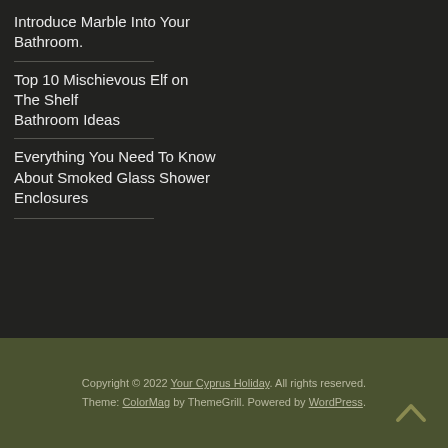Introduce Marble Into Your Bathroom.
Top 10 Mischievous Elf on The Shelf Bathroom Ideas
Everything You Need To Know About Smoked Glass Shower Enclosures
Copyright © 2022 Your Cyprus Holiday. All rights reserved. Theme: ColorMag by ThemeGrill. Powered by WordPress.